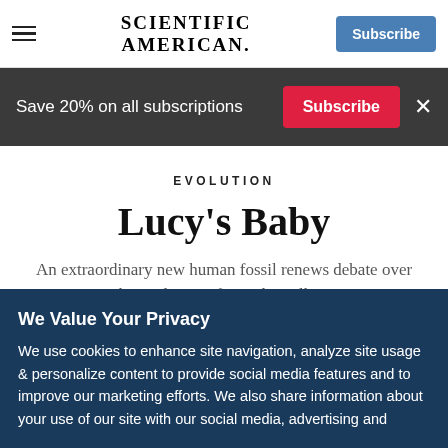SCIENTIFIC AMERICAN — Navigation bar with hamburger menu, logo, and Subscribe button
Save 20% on all subscriptions  Subscribe  ×
EVOLUTION
Lucy's Baby
An extraordinary new human fossil renews debate over the evolution of upright walking
We Value Your Privacy
We use cookies to enhance site navigation, analyze site usage & personalize content to provide social media features and to improve our marketing efforts. We also share information about your use of our site with our social media, advertising and